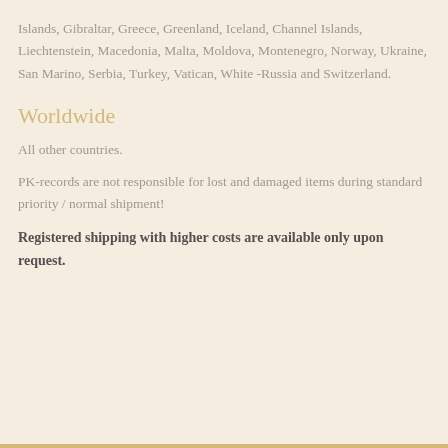Islands, Gibraltar, Greece, Greenland, Iceland, Channel Islands, Liechtenstein, Macedonia, Malta, Moldova, Montenegro, Norway, Ukraine, San Marino, Serbia, Turkey, Vatican, White -Russia and Switzerland.
Worldwide
All other countries.
PK-records are not responsible for lost and damaged items during standard priority / normal shipment!
Registered shipping with higher costs are available only upon request.